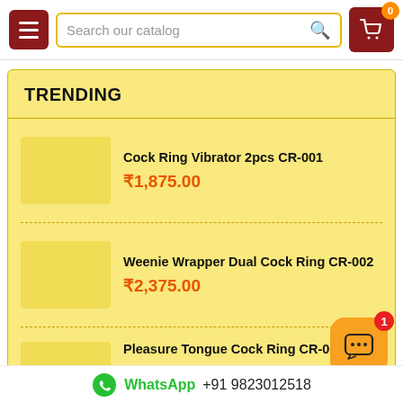Search our catalog — navigation header with menu button and cart
TRENDING
Cock Ring Vibrator 2pcs CR-001 — ₹1,875.00
Weenie Wrapper Dual Cock Ring CR-002 — ₹2,375.00
Pleasure Tongue Cock Ring CR-003 (partial)
WhatsApp +91 9823012518